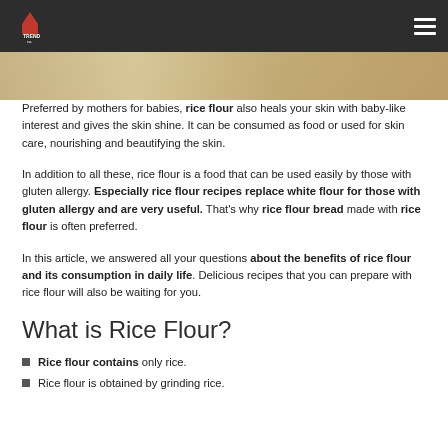Food Trend logo and navigation
[Figure (photo): Top portion of a food/rice flour related image, cropped at the top of the content area]
Preferred by mothers for babies, rice flour also heals your skin with baby-like interest and gives the skin shine. It can be consumed as food or used for skin care, nourishing and beautifying the skin.
In addition to all these, rice flour is a food that can be used easily by those with gluten allergy. Especially rice flour recipes replace white flour for those with gluten allergy and are very useful. That's why rice flour bread made with rice flour is often preferred.
In this article, we answered all your questions about the benefits of rice flour and its consumption in daily life. Delicious recipes that you can prepare with rice flour will also be waiting for you.
What is Rice Flour?
Rice flour contains only rice.
Rice flour is obtained by grinding rice.